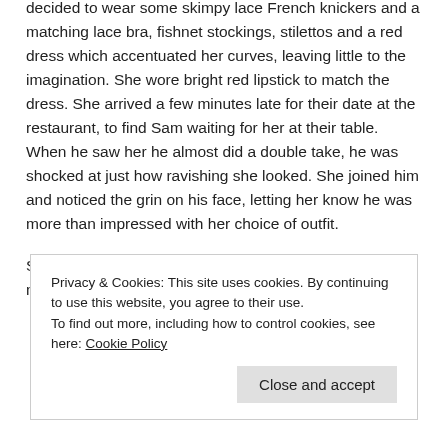decided to wear some skimpy lace French knickers and a matching lace bra, fishnet stockings, stilettos and a red dress which accentuated her curves, leaving little to the imagination. She wore bright red lipstick to match the dress. She arrived a few minutes late for their date at the restaurant, to find Sam waiting for her at their table. When he saw her he almost did a double take, he was shocked at just how ravishing she looked. She joined him and noticed the grin on his face, letting her know he was more than impressed with her choice of outfit.
She took her phone from her bag and typed a simple message to him: “tonight I want it in my arse”. She
Privacy & Cookies: This site uses cookies. By continuing to use this website, you agree to their use.
To find out more, including how to control cookies, see here: Cookie Policy
Close and accept